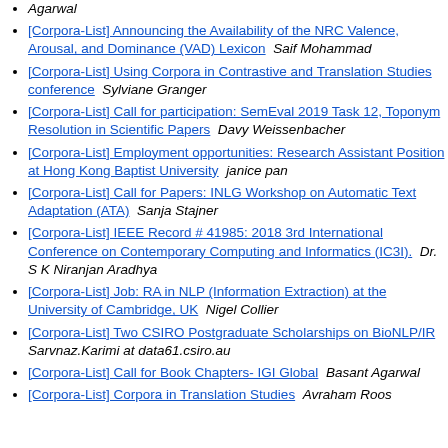Agarwal
[Corpora-List] Announcing the Availability of the NRC Valence, Arousal, and Dominance (VAD) Lexicon  Saif Mohammad
[Corpora-List] Using Corpora in Contrastive and Translation Studies conference  Sylviane Granger
[Corpora-List] Call for participation: SemEval 2019 Task 12, Toponym Resolution in Scientific Papers  Davy Weissenbacher
[Corpora-List] Employment opportunities: Research Assistant Position at Hong Kong Baptist University  janice pan
[Corpora-List] Call for Papers: INLG Workshop on Automatic Text Adaptation (ATA)  Sanja Stajner
[Corpora-List] IEEE Record # 41985: 2018 3rd International Conference on Contemporary Computing and Informatics (IC3I).  Dr. S K Niranjan Aradhya
[Corpora-List] Job: RA in NLP (Information Extraction) at the University of Cambridge, UK  Nigel Collier
[Corpora-List] Two CSIRO Postgraduate Scholarships on BioNLP/IR  Sarvnaz.Karimi at data61.csiro.au
[Corpora-List] Call for Book Chapters- IGI Global  Basant Agarwal
[Corpora-List] Corpora in Translation Studies  Avraham Roos